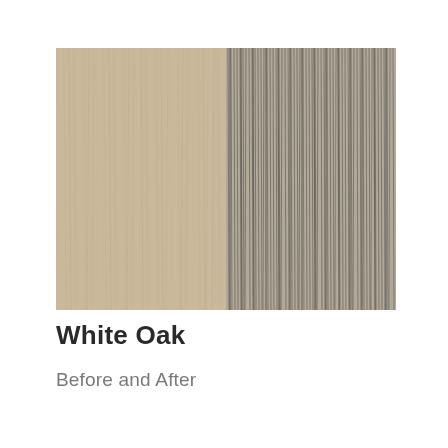[Figure (photo): Two side-by-side wood grain samples of White Oak: left panel shows a smooth, light beige/tan wood grain (before treatment), right panel shows a darker, more pronounced vertical grain pattern in grey/brown tones (after treatment).]
White Oak
Before and After